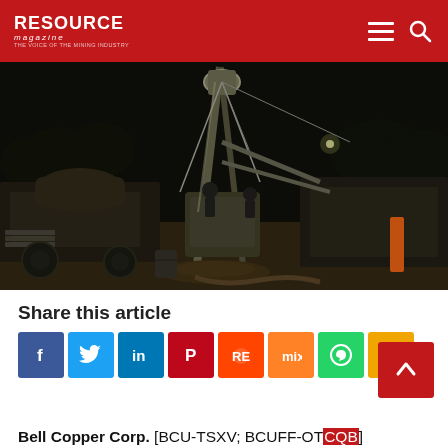RESOURCE magazine
[Figure (photo): Night-time drilling operation with a large drill rig and workers on site, machinery illuminated against a dark sky]
Share this article
[Figure (infographic): Row of social share buttons: Facebook, Twitter, LinkedIn, Pinterest, Reddit, Mix, WhatsApp, Share]
Bell Copper Corp. [BCU-TSXV; BCUFF-OTCQB]